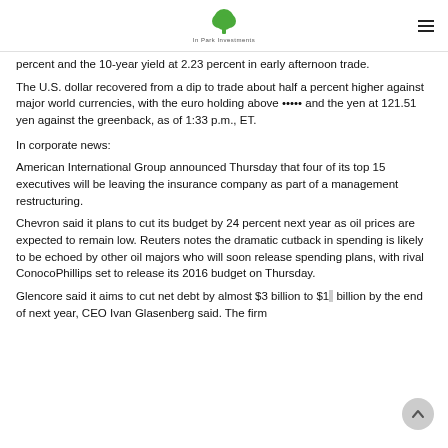In Park Investments
percent and the 10-year yield at 2.23 percent in early afternoon trade.
The U.S. dollar recovered from a dip to trade about half a percent higher against major world currencies, with the euro holding above ••••• and the yen at 121.51 yen against the greenback, as of 1:33 p.m., ET.
In corporate news:
American International Group announced Thursday that four of its top 15 executives will be leaving the insurance company as part of a management restructuring.
Chevron said it plans to cut its budget by 24 percent next year as oil prices are expected to remain low. Reuters notes the dramatic cutback in spending is likely to be echoed by other oil majors who will soon release spending plans, with rival ConocoPhillips set to release its 2016 budget on Thursday.
Glencore said it aims to cut net debt by almost $3 billion to $1• billion by the end of next year, CEO Ivan Glasenberg said. The firm